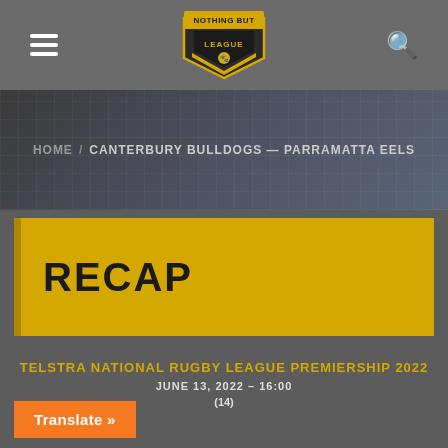[Figure (logo): Nothing But League shield logo with yellow and black design]
HOME / CANTERBURY BULLDOGS — PARRAMATTA EELS
RECAP
TELSTRA NATIONAL RUGBY LEAGUE PREMIERSHIP 2022
JUNE 13, 2022 – 16:00
(14)
Translate »